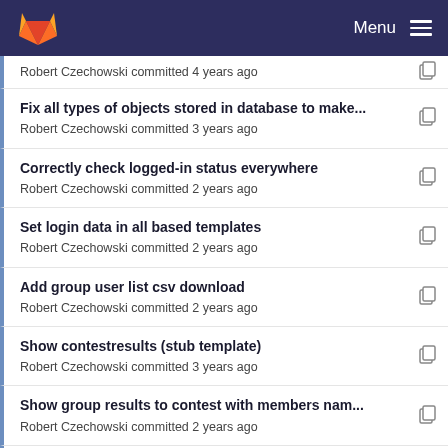Menu
Robert Czechowski committed 4 years ago
Fix all types of objects stored in database to make...
Robert Czechowski committed 3 years ago
Correctly check logged-in status everywhere
Robert Czechowski committed 2 years ago
Set login data in all based templates
Robert Czechowski committed 2 years ago
Add group user list csv download
Robert Czechowski committed 2 years ago
Show contestresults (stub template)
Robert Czechowski committed 3 years ago
Show group results to contest with members nam...
Robert Czechowski committed 2 years ago
Show contestresults (stub template)
Robert Czechowski committed 3 years ago